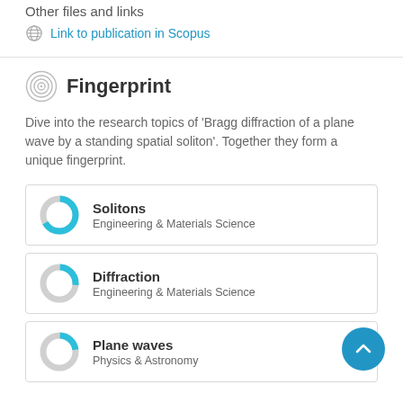Other files and links
Link to publication in Scopus
Fingerprint
Dive into the research topics of 'Bragg diffraction of a plane wave by a standing spatial soliton'. Together they form a unique fingerprint.
Solitons
Engineering & Materials Science
Diffraction
Engineering & Materials Science
Plane waves
Physics & Astronomy